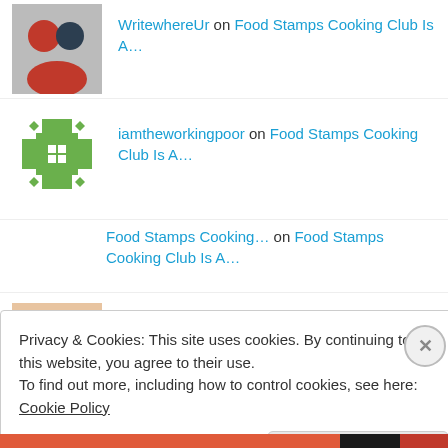WritewhereUr on Food Stamps Cooking Club Is A…
iamtheworkingpoor on Food Stamps Cooking Club Is A…
Food Stamps Cooking… on Food Stamps Cooking Club Is A…
Felishia Barnes on Triple Negative Breast Cancer
Levine Communication… on Bozo…The World's M…
Privacy & Cookies: This site uses cookies. By continuing to use this website, you agree to their use.
To find out more, including how to control cookies, see here: Cookie Policy
Close and accept